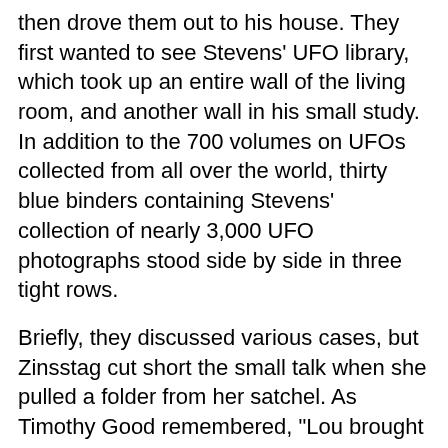then drove them out to his house. They first wanted to see Stevens' UFO library, which took up an entire wall of the living room, and another wall in his small study. In addition to the 700 volumes on UFOs collected from all over the world, thirty blue binders containing Stevens' collection of nearly 3,000 UFO photographs stood side by side in three tight rows.
Briefly, they discussed various cases, but Zinsstag cut short the small talk when she pulled a folder from her satchel. As Timothy Good remembered, "Lou brought a sort of 'dossier' on Meier." Inside the folder lay a large envelope, which she opened carefully, then slid out a small stack of 5 X 7 photos. As she began laying out each photograph neatly on Stevens' dining room table, Stevens took one look and whispered, "I have nothing in my collection that even comes near the quality of these prints."
When Stevens examined a UFO photograph, he looked first for relative focus, then for distance greying. "Distance